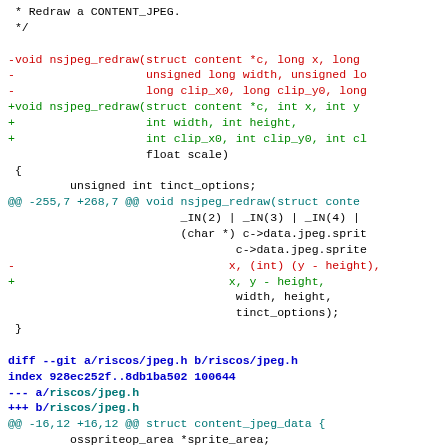Code diff showing changes to nsjpeg_redraw function and riscos/jpeg.h header file